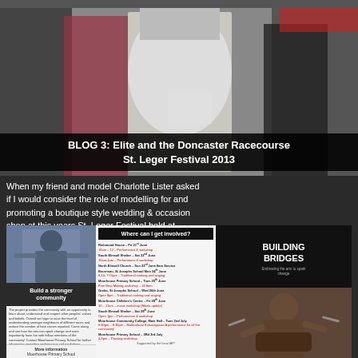[Figure (photo): Photo of a woman in a white strapless dress at what appears to be a fashion or event venue, with other people visible in the background]
When my friend and model Charlotte Lister asked if I would consider the role of modelling for and promoting a boutique style wedding & occasion shop at this years St. Leger Festival held at Doncaster Racecourse, I was ...
BLOG 3: Elite and the Doncaster Racecourse St. Leger Festival 2013
[Figure (photo): Composite image showing a community event flyer/poster with three panels: left panel shows a person and 'Build a stronger community' text with small body text; middle panel shows 'Where can I get involved?' event listings; right panel shows 'Building Bridges' title card and a photo of a drummer]